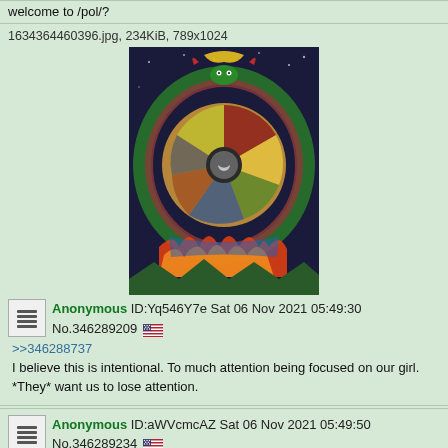welcome to /pol/?
1634364460396.jpg, 234KiB, 789x1024
[Figure (illustration): Colorful circular mandala-style illustration with a serpent/dragon border, depicting various scenes inside a wheel with cosmic/cultural imagery]
Anonymous ID:Yq546Y7e Sat 06 Nov 2021 05:49:30 No.346289209
>>346288737
I believe this is intentional. To much attention being focused on our girl. *They* want us to lose attention.
Anonymous ID:aWVcmcAZ Sat 06 Nov 2021 05:49:50 No.346289234
Quoted By: >>346289602 >>346289680
>>346288737
because the glow in the lower right isn't all from the lava river, it's from cogote also
they're trying to get it all in the same frame
Anonymous ID:Yq546Y7e Sat 06 Nov 2021 05:53:24